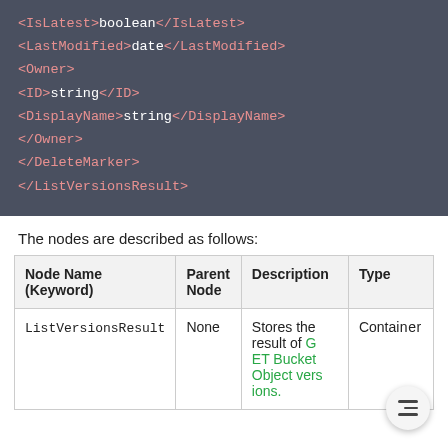[Figure (screenshot): Code block showing XML structure: <IsLatest>boolean</IsLatest>, <LastModified>date</LastModified>, <Owner>, <ID>string</ID>, <DisplayName>string</DisplayName>, </Owner>, </DeleteMarker>, </ListVersionsResult>]
The nodes are described as follows:
| Node Name (Keyword) | Parent Node | Description | Type |
| --- | --- | --- | --- |
| ListVersionsResult | None | Stores the result of GET Bucket Object versions. | Container |